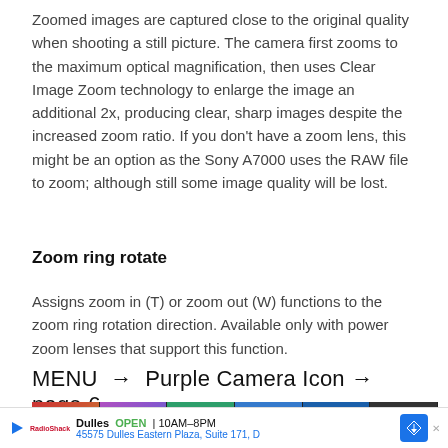Zoomed images are captured close to the original quality when shooting a still picture. The camera first zooms to the maximum optical magnification, then uses Clear Image Zoom technology to enlarge the image an additional 2x, producing clear, sharp images despite the increased zoom ratio. If you don't have a zoom lens, this might be an option as the Sony A7000 uses the RAW file to zoom; although still some image quality will be lost.
Zoom ring rotate
Assigns zoom in (T) or zoom out (W) functions to the zoom ring rotation direction. Available only with power zoom lenses that support this function.
MENU  →  Purple Camera Icon →  page 6
[Figure (screenshot): Sony camera menu screen showing icon tabs across the top (camera1, camera2, wifi, grid, playback, toolbox) with the active tab being camera2 (purple), and the bottom showing 'Display/Auto Review1' label with page indicator 6/9]